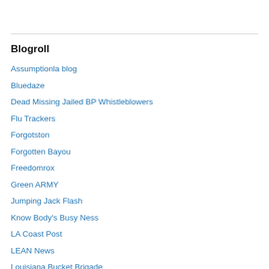Blogroll
Assumptionla blog
Bluedaze
Dead Missing Jailed BP Whistleblowers
Flu Trackers
Forgotston
Forgotten Bayou
Freedomrox
Green ARMY
Jumping Jack Flash
Know Body's Busy Ness
LA Coast Post
LEAN News
Louisiana Bucket Brigade
Lunar Meteor Hunters
Nature Runs Amok at Yellowstone